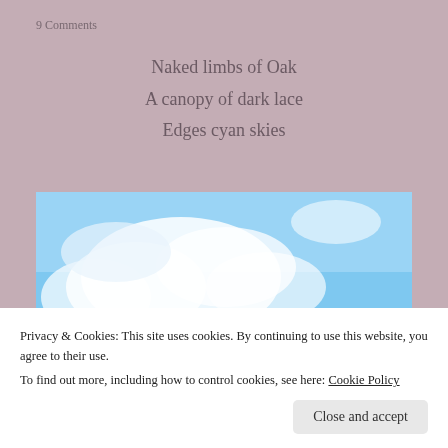9 Comments
Naked limbs of Oak
A canopy of dark lace
Edges cyan skies
[Figure (photo): Photo of a cyan/blue sky with white clouds and bare winter tree branches at the bottom, taken from below looking up.]
Privacy & Cookies: This site uses cookies. By continuing to use this website, you agree to their use.
To find out more, including how to control cookies, see here: Cookie Policy
Close and accept